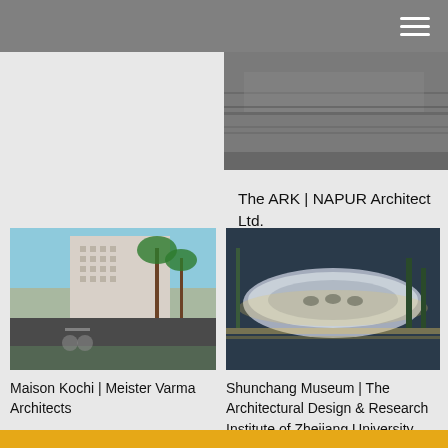[Figure (photo): Aerial or exterior architectural photo partially visible at top right — The ARK building]
The ARK | NAPUR Architect Ltd.
[Figure (photo): Street-level photo of Maison Kochi — a modern concrete building with grid facade, person on bicycle in foreground, tropical trees]
Maison Kochi | Meister Varma Architects
[Figure (photo): Aerial view of Shunchang Museum — a large curved boat-shaped building beside a river at night, lit up]
Shunchang Museum | The Architectural Design & Research Institute of Zhejiang University Co., Ltd. (UAD)